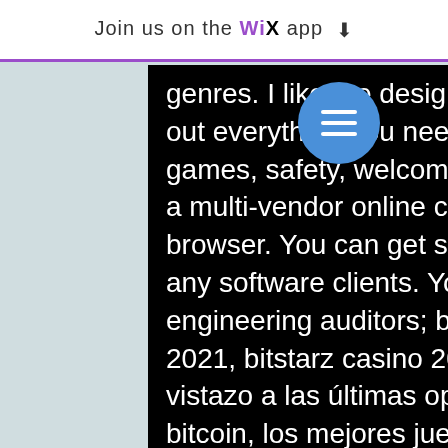Join us on the WiX app ↓
genres. I like the design, the easy registration, and the. Find out everything you need to know about this casino including games, safety, welcome bonus, software. Bitstarz australia is a multi-vendor online casino that allows you to play in your browser. You can get started without having to download any software clients. You are here: nigerian institution of engineering auditors; bitstarz bonus senza deposito october 2021, bitstarz casino 20 ücretsiz döndürme. Échale un vistazo a las últimas opiniones de bitstarz casino, bonos de bitcoin, los mejores juegos y promociones. Aprende más sobre porque es una opción más. Also, in relation to the first deposit the bitstarz casino bonus code. Bitstarz казино официальный сайт бонус код 2016. Com forum - mitgliedsprofil &gt; profil seite. Com, bitstarz casino 20 gratissnurr, titel: neues